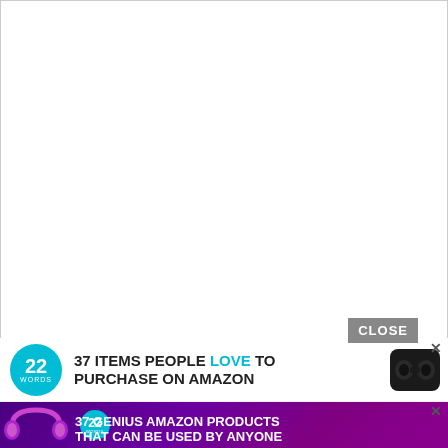[Figure (other): Large white blank content area with light gray border, representing a web page content placeholder]
CLOSE
[Figure (other): Advertisement banner: 22 Words logo (teal circle) with text '37 ITEMS PEOPLE LOVE TO PURCHASE ON AMAZON' and image of wireless earbuds/headphones]
[Figure (other): Advertisement banner: purple headphones image with 22 Words teal logo circle and text '37 GENIUS AMAZON PRODUCTS THAT CAN BE USED BY ANYONE']